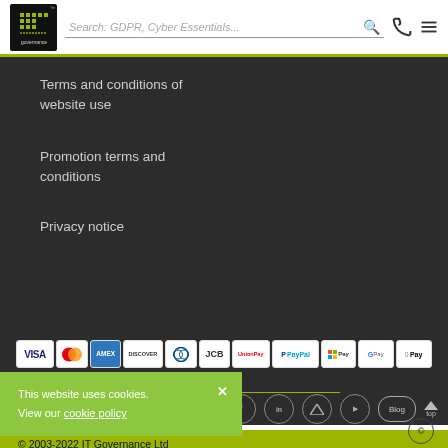[Figure (logo): IT Governance logo — dark square with dotted IT letters and 'governance' text below]
Search: GDPR, Cyber Essentials...
Terms and conditions of website use
Promotion terms and conditions
Privacy notice
[Figure (other): Payment method icons: VISA, Mastercard, AMEX, Discover, Diners Club, JCB, UnionPay, PayPal, Microsoft Pay, Google Pay, Apple Pay]
This website uses cookies. View our cookie policy
© 2003-2022 IT Governance Ltd
Acknowledgement of Copyrights
IT Governance Trademark Ownership Notification